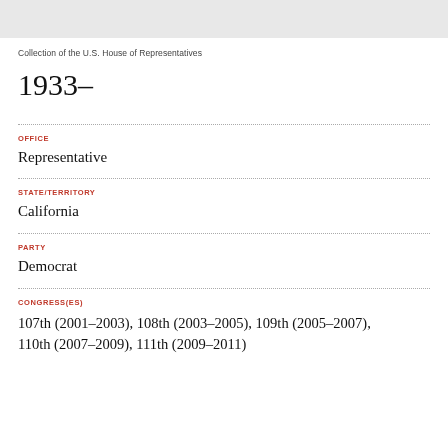[Figure (other): Gray banner at top of page]
Collection of the U.S. House of Representatives
1933–
OFFICE
Representative
STATE/TERRITORY
California
PARTY
Democrat
CONGRESS(ES)
107th (2001–2003), 108th (2003–2005), 109th (2005–2007), 110th (2007–2009), 111th (2009–2011)